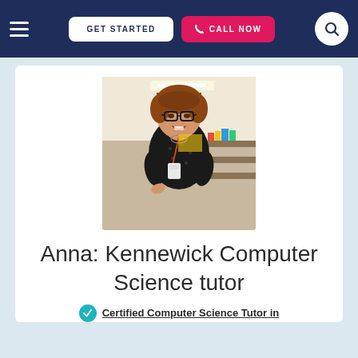GET STARTED | CALL NOW
[Figure (photo): A woman with short brown hair and glasses, wearing a black polka-dot top and a lanyard with an ID badge, standing in what appears to be a classroom or school setting, smiling at the camera.]
Anna: Kennewick Computer Science tutor
Certified Computer Science Tutor in